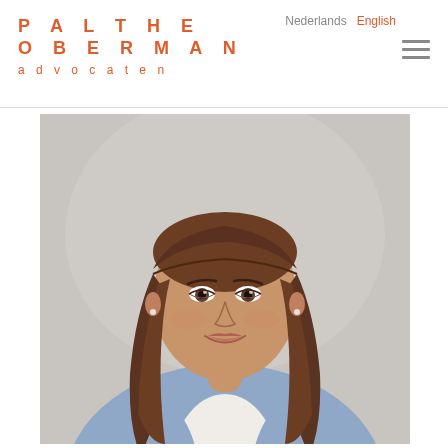PALTHE OBERMAN advocaten
Nederlands  English
[Figure (photo): Professional headshot of a young woman with long brown hair, wearing a light blue blazer over a white blouse, smiling, against a light grey background. Law firm profile photo for Palthe Oberman advocaten.]